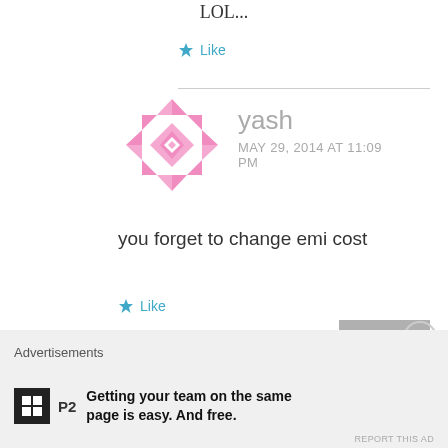LOL...
★ Like
[Figure (illustration): Pink geometric avatar icon for user yash]
yash — MAY 29, 2014 AT 11:09 PM
you forget to change emi cost
★ Like
REPLY
Advertisements
Getting your team on the same page is easy. And free.